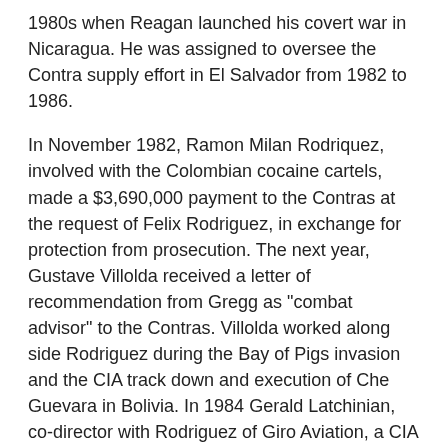1980s when Reagan launched his covert war in Nicaragua. He was assigned to oversee the Contra supply effort in El Salvador from 1982 to 1986.
In November 1982, Ramon Milan Rodriquez, involved with the Colombian cocaine cartels, made a $3,690,000 payment to the Contras at the request of Felix Rodriguez, in exchange for protection from prosecution. The next year, Gustave Villolda received a letter of recommendation from Gregg as "combat advisor" to the Contras. Villolda worked along side Rodriguez during the Bay of Pigs invasion and the CIA track down and execution of Che Guevara in Bolivia. In 1984 Gerald Latchinian, co-director with Rodriguez of Giro Aviation, a CIA proprietary airline, was arrested for smuggling $10.3 million in cocaine to finance the assassination of Honduran President Roberto Suazo Cordova. Latchinian contended that this was a CIA operation.
RAMON MILIAN RODRIQUEZ.
Rodriquez was a Cuban exile and was the principal